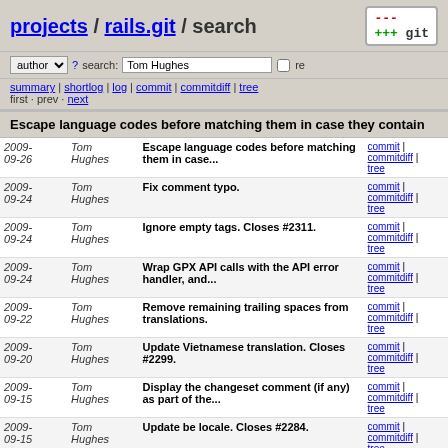projects / rails.git / search
Escape language codes before matching them in case they contain
| Date | Author | Message | Links |
| --- | --- | --- | --- |
| 2009-09-26 | Tom Hughes | Escape language codes before matching them in case... | commit | commitdiff | tree |
| 2009-09-24 | Tom Hughes | Fix comment typo. | commit | commitdiff | tree |
| 2009-09-24 | Tom Hughes | Ignore empty tags. Closes #2311. | commit | commitdiff | tree |
| 2009-09-24 | Tom Hughes | Wrap GPX API calls with the API error handler, and... | commit | commitdiff | tree |
| 2009-09-22 | Tom Hughes | Remove remaining trailing spaces from translations. | commit | commitdiff | tree |
| 2009-09-20 | Tom Hughes | Update Vietnamese translation. Closes #2299. | commit | commitdiff | tree |
| 2009-09-15 | Tom Hughes | Display the changeset comment (if any) as part of the... | commit | commitdiff | tree |
| 2009-09-15 | Tom Hughes | Update be locale. Closes #2284. | commit | commitdiff | tree |